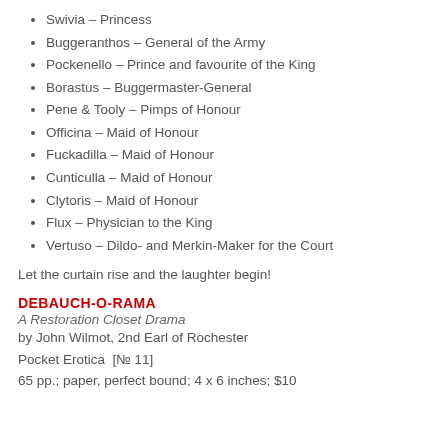Swivia – Princess
Buggeranthos – General of the Army
Pockenello – Prince and favourite of the King
Borastus – Buggermaster-General
Pene & Tooly – Pimps of Honour
Officina – Maid of Honour
Fuckadilla – Maid of Honour
Cunticulla – Maid of Honour
Clytoris – Maid of Honour
Flux – Physician to the King
Vertuso – Dildo- and Merkin-Maker for the Court
Let the curtain rise and the laughter begin!
DEBAUCH-O-RAMA
A Restoration Closet Drama
by John Wilmot, 2nd Earl of Rochester
Pocket Erotica  [№ 11]
65 pp.; paper, perfect bound; 4 x 6 inches; $10